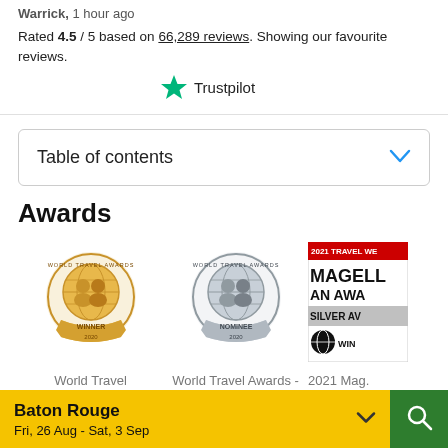Warrick, 1 hour ago
Rated 4.5 / 5 based on 66,289 reviews. Showing our favourite reviews.
[Figure (logo): Trustpilot logo with green star icon]
Table of contents
Awards
[Figure (illustration): World Travel Awards Winner 2020 gold badge]
[Figure (illustration): World Travel Awards Nominee 2020 silver badge]
[Figure (illustration): 2021 Travel Weekly Magellan Awards Silver Award Winner badge (partially visible)]
World Travel
World Travel Awards -
2021 Mag.
Baton Rouge
Fri, 26 Aug - Sat, 3 Sep